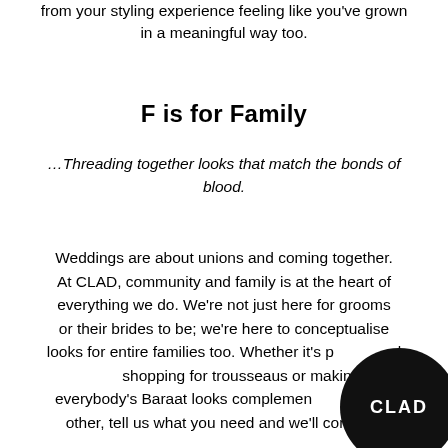from your styling experience feeling like you've grown in a meaningful way too.
F is for Family
…Threading together looks that match the bonds of blood.
Weddings are about unions and coming together. At CLAD, community and family is at the heart of everything we do. We're not just here for grooms or their brides to be; we're here to conceptualise looks for entire families too. Whether it's personal shopping for trousseaus or making everybody's Baraat looks complementary to each other, tell us what you need and we'll come up
[Figure (logo): Black circle with white CLAD text logo]